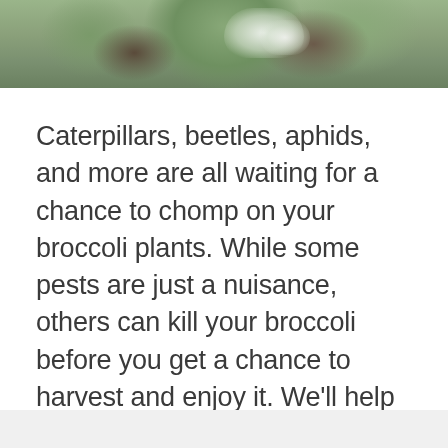[Figure (photo): Close-up photo of broccoli leaves with a person's hands visible, showing large green leaves with white discoloration or spots, partially cropped at the top of the page]
Caterpillars, beetles, aphids, and more are all waiting for a chance to chomp on your broccoli plants. While some pests are just a nuisance, others can kill your broccoli before you get a chance to harvest and enjoy it. We'll help you to identify, manage, and prevent infestation by the most common broccoli pests.